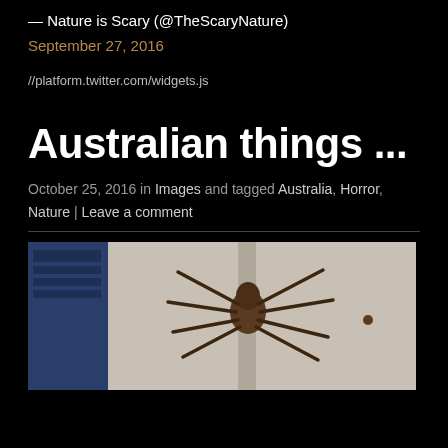— Nature is Scary (@TheScaryNature)
September 27, 2016
//platform.twitter.com/widgets.js
Australian things ...
October 25, 2016 in Images and tagged Australia, Horror, Nature | Leave a comment
[Figure (photo): Large spider clinging to a wall or surface, with long outstretched legs, photographed indoors near what appears to be a blue book or folder]